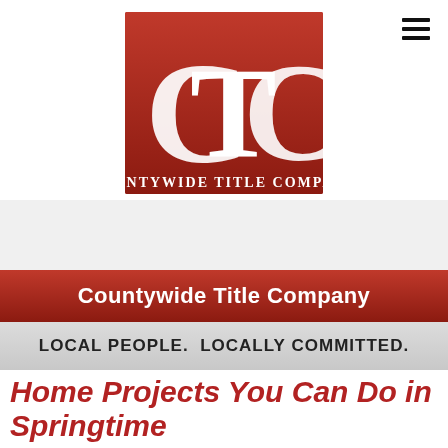[Figure (logo): Countywide Title Company logo: red rectangle with white CTC letters and company name below]
Countywide Title Company
LOCAL PEOPLE.  LOCALLY COMMITTED.
Home Projects You Can Do in Springtime